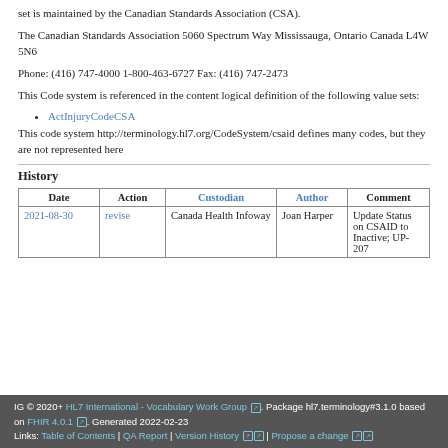set is maintained by the Canadian Standards Association (CSA).
The Canadian Standards Association 5060 Spectrum Way Mississauga, Ontario Canada L4W 5N6
Phone: (416) 747-4000 1-800-463-6727 Fax: (416) 747-2473
This Code system is referenced in the content logical definition of the following value sets:
ActInjuryCodeCSA
This code system http://terminology.hl7.org/CodeSystem/csaid defines many codes, but they are not represented here
History
| Date | Action | Custodian | Author | Comment |
| --- | --- | --- | --- | --- |
| 2021-08-30 | revise | Canada Health Infoway | Joan Harper | Update Status on CSAID to Inactive; UP-207 |
IG © 2020+ HL7 International - Vocabulary Work Group. Package hl7.terminology#3.1.0 based on FHIR 4.0.1. Generated 2022-02-23 Links: Table of Contents | QA Report | Version History | Propose a change